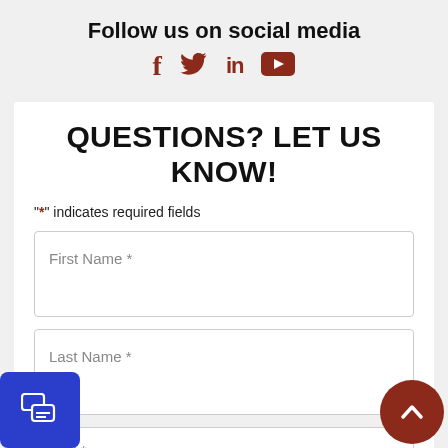Follow us on social media
[Figure (infographic): Social media icons: Facebook (f), Twitter (bird), LinkedIn (in), YouTube (play button), displayed in dark red/brown color]
QUESTIONS? LET US KNOW!
"*" indicates required fields
First Name *
Last Name *
mail *